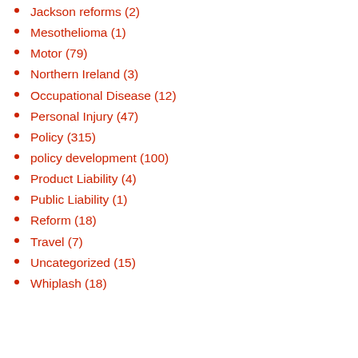Jackson reforms (2)
Mesothelioma (1)
Motor (79)
Northern Ireland (3)
Occupational Disease (12)
Personal Injury (47)
Policy (315)
policy development (100)
Product Liability (4)
Public Liability (1)
Reform (18)
Travel (7)
Uncategorized (15)
Whiplash (18)